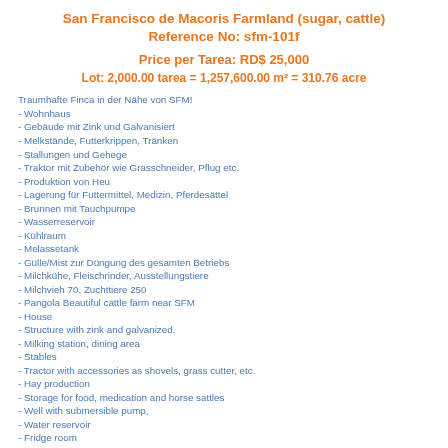San Francisco de Macoris Farmland (sugar, cattle)
Reference No: sfm-101f
Price per Tarea: RD$ 25,000
Lot: 2,000.00 tarea = 1,257,600.00 m² = 310.76 acre
Traumhafte Finca in der Nähe von SFM!
- Wohnhaus
- Gebäude mit Zink und Galvanisiert
- Melkstände, Futterkrippen, Tränken
- Stallungen und Gehege
- Traktor mit Zubehör wie Grasschneider, Pflug etc.
- Produktion von Heu
- Lagerung für Futtermittel, Medizin, Pferdesättel
- Brunnen mit Tauchpumpe
- Wasserreservoir
- Kühlraum
- Melassetank
- Gülle/Mist zur Düngung des gesamten Betriebs
- Milchkühe, Fleischrinder, Ausstellungstiere
- Milchvieh 70, Zuchttiere 250
- Pangola Beautiful cattle farm near SFM
- House
- Structure with zink and galvanized.
- Milking station, dining area
- Stables
- Tractor with accessories as shovels, grass cutter, etc.
- Hay production
- Storage for food, medication and horse sattles
- Well with submersible pump,
- Water reservoir
- Fridge room